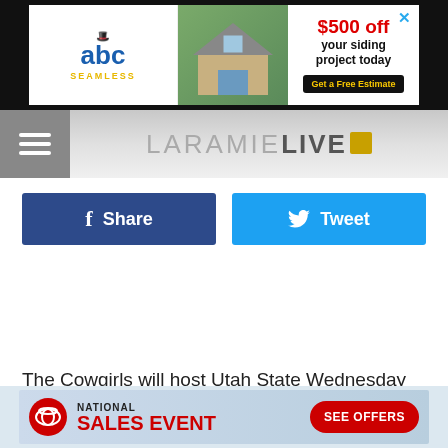[Figure (screenshot): ABC Seamless advertisement banner: '$500 off your siding project today' with Get a Free Estimate button]
LaramieLive
[Figure (screenshot): Facebook Share button and Twitter Tweet button]
The Cowgirls will host Utah State Wednesday at 6:30 p.m. from the Arena-Auditorium in Laramie.
[Figure (screenshot): Toyota National Sales Event advertisement with See Offers button]